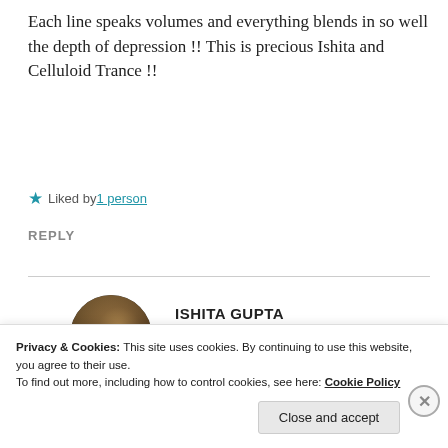Each line speaks volumes and everything blends in so well the depth of depression !! This is precious Ishita and Celluloid Trance !!
★ Liked by 1 person
REPLY
[Figure (photo): Circular avatar photo of Ishita Gupta, dark toned portrait]
ISHITA GUPTA
Jun 18, 2020 at 12:17 pm
Privacy & Cookies: This site uses cookies. By continuing to use this website, you agree to their use.
To find out more, including how to control cookies, see here: Cookie Policy
Close and accept